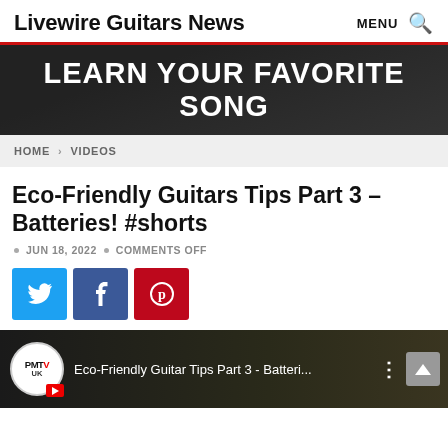Livewire Guitars News   MENU 🔍
[Figure (screenshot): Banner advertisement with dark background and white bold text reading LEARN YOUR FAVORITE SONG]
HOME > VIDEOS
Eco-Friendly Guitars Tips Part 3 – Batteries! #shorts
JUN 18, 2022  •  COMMENTS OFF
[Figure (infographic): Social share buttons: Twitter (blue), Facebook (dark blue), Pinterest (red)]
[Figure (screenshot): Video preview thumbnail showing PMTV UK logo and title: Eco-Friendly Guitar Tips Part 3 - Batteri...]